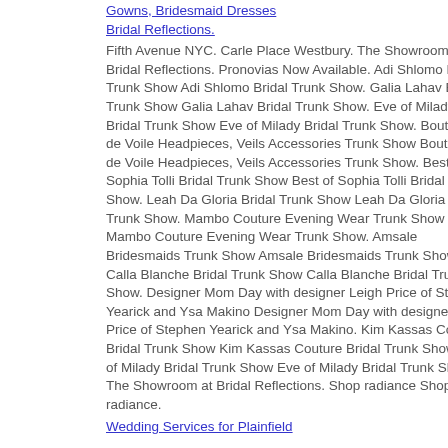Gowns, Bridesmaid Dresses Bridal Reflections.
Fifth Avenue NYC. Carle Place Westbury. The Showroom at Bridal Reflections. Pronovias Now Available. Adi Shlomo Bridal Trunk Show Adi Shlomo Bridal Trunk Show. Galia Lahav Bridal Trunk Show Galia Lahav Bridal Trunk Show. Eve of Milady Bridal Trunk Show Eve of Milady Bridal Trunk Show. Boutique de Voile Headpieces, Veils Accessories Trunk Show Boutique de Voile Headpieces, Veils Accessories Trunk Show. Best of Sophia Tolli Bridal Trunk Show Best of Sophia Tolli Bridal Trunk Show. Leah Da Gloria Bridal Trunk Show Leah Da Gloria Bridal Trunk Show. Mambo Couture Evening Wear Trunk Show Mambo Couture Evening Wear Trunk Show. Amsale Bridesmaids Trunk Show Amsale Bridesmaids Trunk Show. Calla Blanche Bridal Trunk Show Calla Blanche Bridal Trunk Show. Designer Mom Day with designer Leigh Price of Stephen Yearick and Ysa Makino Designer Mom Day with designer Leigh Price of Stephen Yearick and Ysa Makino. Kim Kassas Couture Bridal Trunk Show Kim Kassas Couture Bridal Trunk Show. Eve of Milady Bridal Trunk Show Eve of Milady Bridal Trunk Show. The Showroom at Bridal Reflections. Shop radiance Shop radiance.
Wedding Services for Plainfield